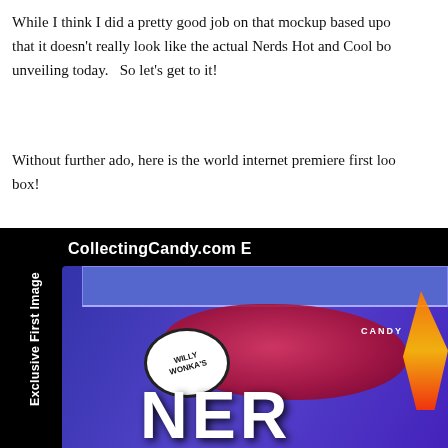While I think I did a pretty good job on that mockup based upon that it doesn't really look like the actual Nerds Hot and Cool bo unveiling today.   So let's get to it!
Without further ado, here is the world internet premiere first loo box!
[Figure (photo): A black-background promotional image showing a Nerds candy box (Willy Wonka brand) with 'CollectingCandy.com E' text at top and 'Exclusive First Image' text rotated vertically on the left sidebar. The box is purple/blue with the Willy Wonka oval logo, cartoon characters in pink/red, CANDY label, and large NERDS lettering at the bottom.]